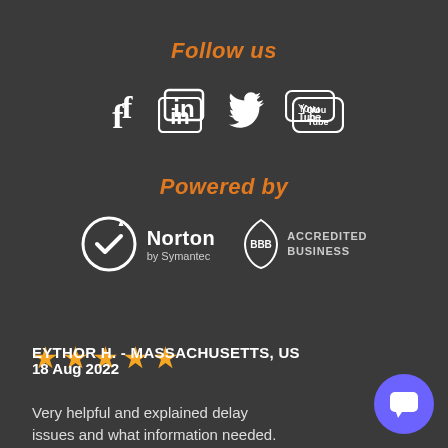Follow us
[Figure (illustration): Social media icons: Facebook (f), LinkedIn (in), Twitter bird, YouTube logo]
Powered by
[Figure (logo): Norton by Symantec logo and BBB Accredited Business logo]
[Figure (illustration): Five orange star rating]
EYTHOR H.  - MASSACHUSETTS, US
18 Aug 2022
Very helpful and explained delay issues and what information needed.